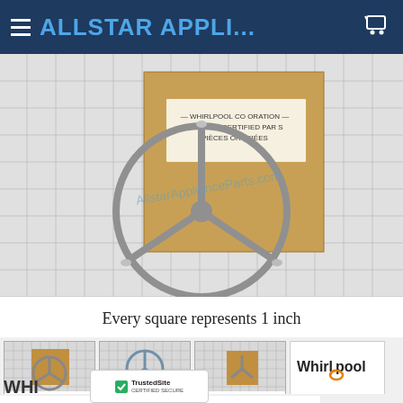ALLSTAR APPLI...
[Figure (photo): Product photo of a Whirlpool microwave turntable support ring/roller guide on a grid background. A Whirlpool Factory Certified Parts box is visible behind it. Watermark reads AllstarApplianceParts.com. Caption: Every square represents 1 inch]
Every square represents 1 inch
[Figure (photo): Thumbnail 1: product with box on grid]
[Figure (photo): Thumbnail 2: product roller guide on grid]
[Figure (photo): Thumbnail 3: product side view with box on grid]
[Figure (logo): Whirlpool logo]
[Figure (logo): TrustedSite CERTIFIED SECURE badge]
WHI